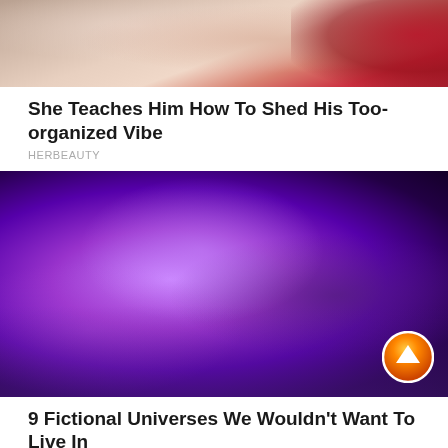[Figure (photo): Photo of two people on a bed, one wearing white shirt, other in red, lifestyle/relationship content]
She Teaches Him How To Shed His Too-organized Vibe
HERBEAUTY
[Figure (photo): Sci-fi image of a woman with silver/gray bob haircut in purple and pink atmospheric lighting, pointing finger, from a fictional universe]
9 Fictional Universes We Wouldn't Want To Live In
BRAINBERRIES